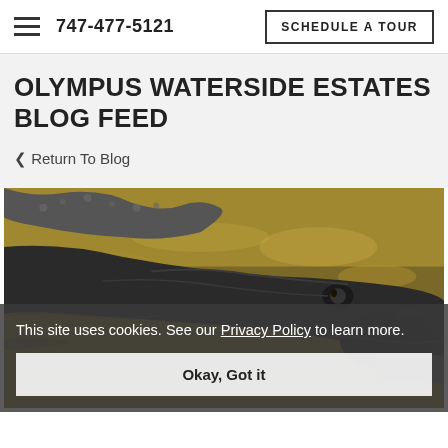747-477-5121  SCHEDULE A TOUR
OLYMPUS WATERSIDE ESTATES BLOG FEED
< Return To Blog
[Figure (photo): Close-up photo of an alligator floating in murky water, with its textured dark back and head visible above the waterline, golden-brown water in background.]
This site uses cookies. See our Privacy Policy to learn more.
Okay, Got it